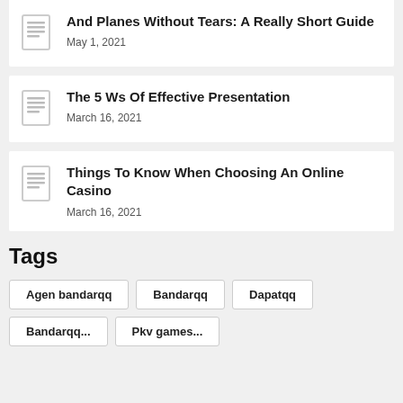And Planes Without Tears: A Really Short Guide
May 1, 2021
The 5 Ws Of Effective Presentation
March 16, 2021
Things To Know When Choosing An Online Casino
March 16, 2021
Tags
Agen bandarqq
Bandarqq
Dapatqq